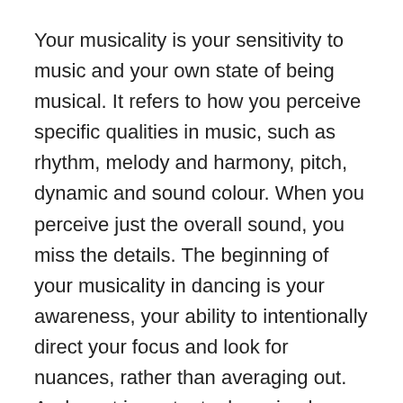Your musicality is your sensitivity to music and your own state of being musical. It refers to how you perceive specific qualities in music, such as rhythm, melody and harmony, pitch, dynamic and sound colour. When you perceive just the overall sound, you miss the details. The beginning of your musicality in dancing is your awareness, your ability to intentionally direct your focus and look for nuances, rather than averaging out. And most important, observing how that makes you feel and respond.
Musicality seems a gift, but it is not, it's just your lived experience. A true artist would know that to perform with great musicality requires most of all a lot of